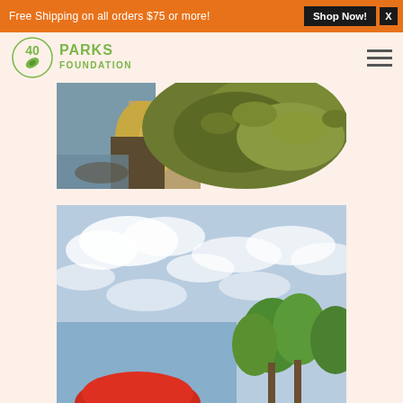Free Shipping on all orders $75 or more! Shop Now! X
[Figure (logo): 40 Parks Foundation logo with green leaf emblem]
[Figure (photo): Close-up photograph of moss-covered rocks near water with golden grass]
[Figure (photo): Outdoor scene with blue sky, white clouds, green trees, and partial view of a red sign or umbrella at bottom]